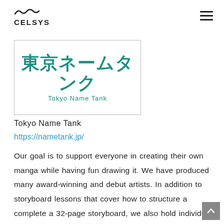CELSYS
[Figure (logo): Tokyo Name Tank logo: Japanese characters 東京ネームタンク in teal/green color with 'Tokyo Name Tank' written below in smaller teal text, inside a rectangular border]
Tokyo Name Tank
https://nametank.jp/
Our goal is to support everyone in creating their own manga while having fun drawing it. We have produced many award-winning and debut artists. In addition to storyboard lessons that cover how to structure a complete a 32-page storyboard, we also hold individual consultations and storyboard exchange sessions to answer concerns about the creation of comics.